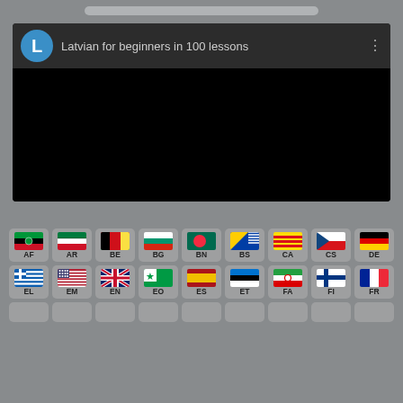[Figure (screenshot): Mobile app screenshot showing a YouTube-style video card with title 'Latvian for beginners in 100 lessons' and a grid of language buttons with flags (AF, AR, BE, BG, BN, BS, CA, CS, DE, EL, EM, EN, EO, ES, ET, FA, FI, FR) below]
Latvian for beginners in 100 lessons
AF AR BE BG BN BS CA CS DE EL EM EN EO ES ET FA FI FR